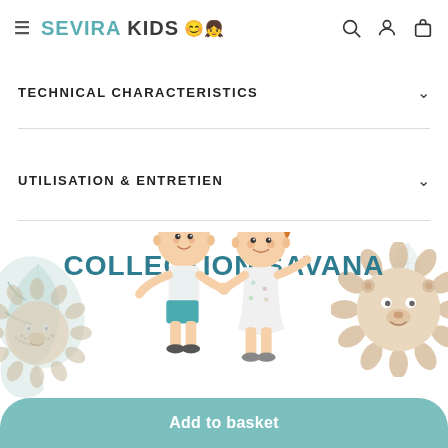SEVIRA KIDS
TECHNICAL CHARACTERISTICS
UTILISATION & ENTRETIEN
[Figure (illustration): Collection Savana promotional banner with cartoon children holding hands, decorative lion faces and tropical leaves, title reading COLLECTION SAVANA]
Add to basket